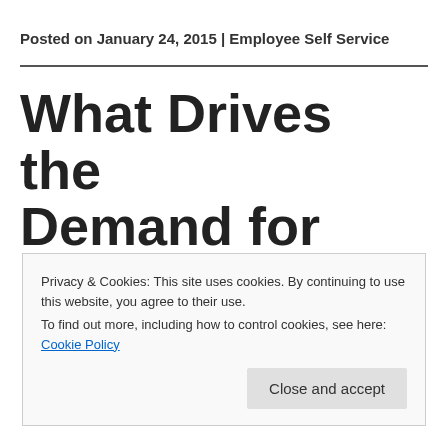Posted on January 24, 2015 | Employee Self Service
What Drives the Demand for Employee Self
Privacy & Cookies: This site uses cookies. By continuing to use this website, you agree to their use.
To find out more, including how to control cookies, see here: Cookie Policy
Close and accept